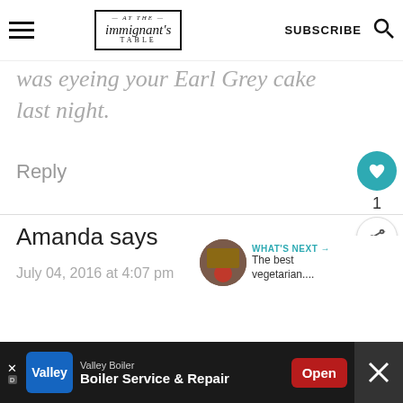At The Immigrant's Table — SUBSCRIBE
was eyeing your Earl Grey cake last night.
Reply
Amanda says
July 04, 2016 at 4:07 pm
WHAT'S NEXT → The best vegetarian....
[Figure (infographic): Ad banner: Valley Boiler — Boiler Service & Repair, Open button]
Valley Boiler — Boiler Service & Repair — Open